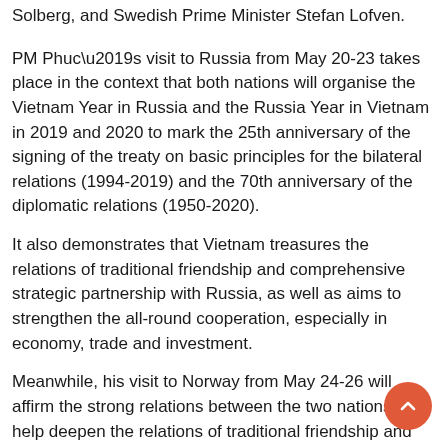Solberg, and Swedish Prime Minister Stefan Lofven.
PM Phuc’s visit to Russia from May 20-23 takes place in the context that both nations will organise the Vietnam Year in Russia and the Russia Year in Vietnam in 2019 and 2020 to mark the 25th anniversary of the signing of the treaty on basic principles for the bilateral relations (1994-2019) and the 70th anniversary of the diplomatic relations (1950-2020).
It also demonstrates that Vietnam treasures the relations of traditional friendship and comprehensive strategic partnership with Russia, as well as aims to strengthen the all-round cooperation, especially in economy, trade and investment.
Meanwhile, his visit to Norway from May 24-26 will affirm the strong relations between the two nations, and help deepen the relations of traditional friendship and develop the bilateral cooperation into a more practical and effective manner.